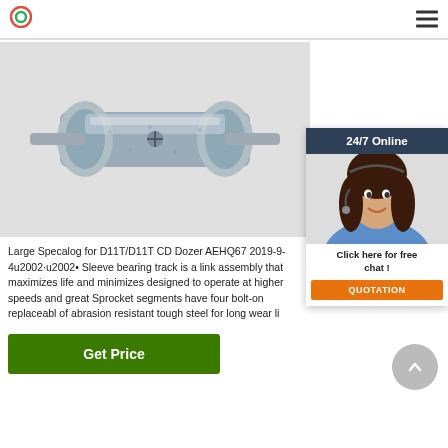logo and navigation menu
[Figure (photo): Metal sleeve bearing track roller component, silver/steel colored cylindrical part with flanges on both ends]
[Figure (photo): 24/7 Online chat widget showing a woman with headset smiling, with 'Click here for free chat!' text and orange QUOTATION button]
Large Specalog for D11T/D11T CD Dozer AEHQ67 2019-9-4u2002·u2002• Sleeve bearing track is a link assembly that maximizes life and minimizes designed to operate at higher speeds and great Sprocket segments have four bolt-on replaceabl of abrasion resistant tough steel for long wear li
Get Price